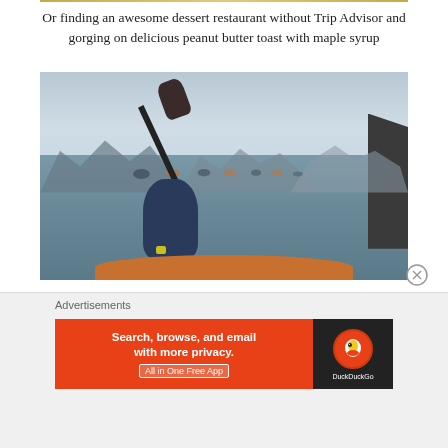Or finding an awesome dessert restaurant without Trip Advisor and gorging on delicious peanut butter toast with maple syrup
[Figure (photo): Person kayaking on calm water with karst limestone mountains in background, view from behind the kayaker holding a paddle up, other kayakers visible in the distance]
Advertisements
[Figure (screenshot): DuckDuckGo advertisement banner: orange left panel saying 'Search, browse, and email with more privacy. All in One Free App' and dark right panel with DuckDuckGo duck logo and text 'DuckDuckGo']